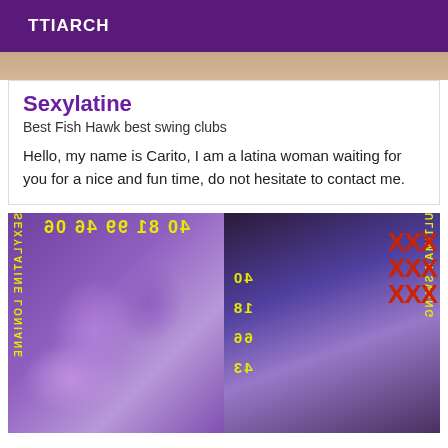TTIARCH
[Figure (photo): Partial top image strip showing skin tones]
Sexylatine
Best Fish Hawk best swing clubs
Hello, my name is Carito, I am a latina woman waiting for you for a nice and fun time, do not hesitate to contact me.
[Figure (photo): Two adult content images side by side with yellow text overlays showing mirrored/reversed text and numbers]